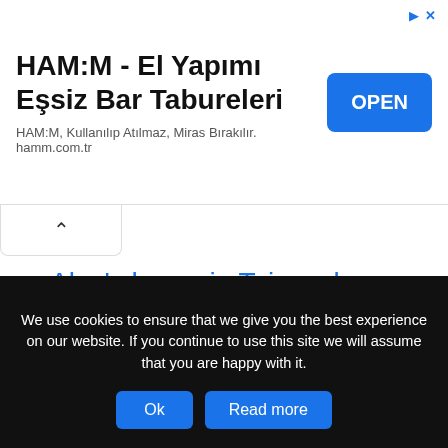[Figure (screenshot): Advertisement banner for HAM:M bar stools with OPEN button]
Alex’s home in Taiwan by HOZO interior design
Leave a reply
Alex’s home in Taiwan is a project designed by HOZO interior design covers an area of 135 square meters and is located in
We use cookies to ensure that we give you the best experience on our website. If you continue to use this site we will assume that you are happy with it.